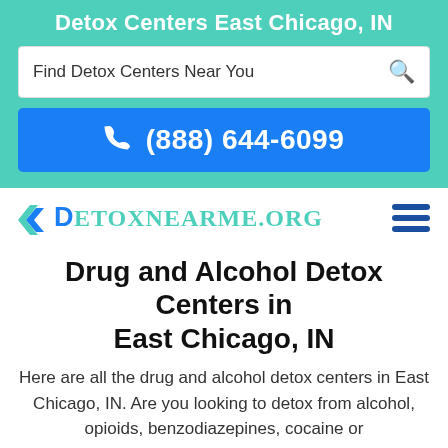Detox Centers East Chicago, IN
Find Detox Centers Near You
(888) 644-6099
[Figure (logo): DetoxNearMe.org logo with teal chevron D and hamburger menu icon]
Drug and Alcohol Detox Centers in East Chicago, IN
Here are all the drug and alcohol detox centers in East Chicago, IN. Are you looking to detox from alcohol, opioids, benzodiazepines, cocaine or methamphetamines in a detox facility in East